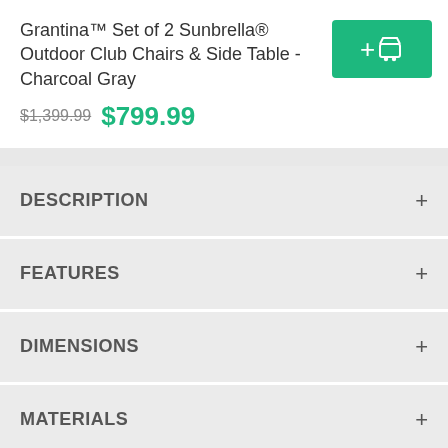Grantina™ Set of 2 Sunbrella® Outdoor Club Chairs & Side Table - Charcoal Gray
$1,399.99  $799.99
DESCRIPTION
FEATURES
DIMENSIONS
MATERIALS